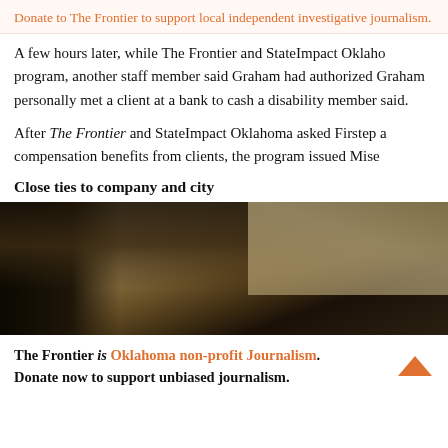Donate to The Frontier to support local independent investigative journalism.
A few hours later, while The Frontier and StateImpact Oklaho program, another staff member said Graham had authorized Graham personally met a client at a bank to cash a disability member said.
After The Frontier and StateImpact Oklahoma asked Firstep a compensation benefits from clients, the program issued Mise
Close ties to company and city
[Figure (photo): Interior photo showing ceiling beams and walls of a building, taken at an upward angle]
The Frontier is Oklahoma non-profit Journalism. Donate now to support unbiased journalism.